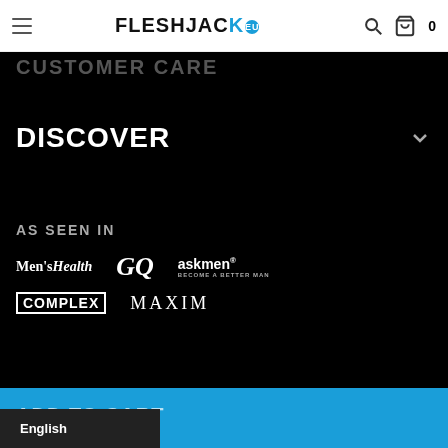FLESHJACK.EU
CUSTOMER CARE
DISCOVER
AS SEEN IN
[Figure (logo): Brand logos: Men's Health, GQ, askmen, COMPLEX, MAXIM]
RICKY ROMAN - DILDO €69.95
ADD TO CART
English